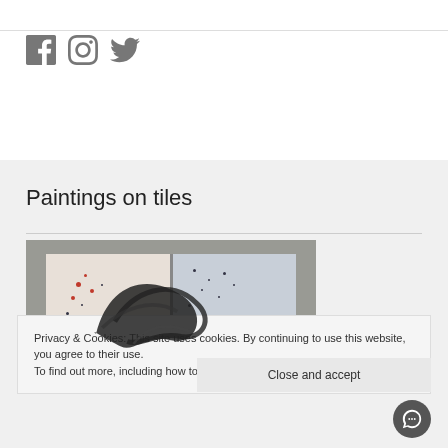[Figure (illustration): Social media icons: Facebook, Instagram, Twitter in gray]
Paintings on tiles
[Figure (photo): Photograph of paintings on tiles in a gray frame, showing abstract brushwork in black on white and blue-gray tile backgrounds]
Privacy & Cookies: This site uses cookies. By continuing to use this website, you agree to their use.
To find out more, including how to control cookies, see here: Cookie Policy
Close and accept